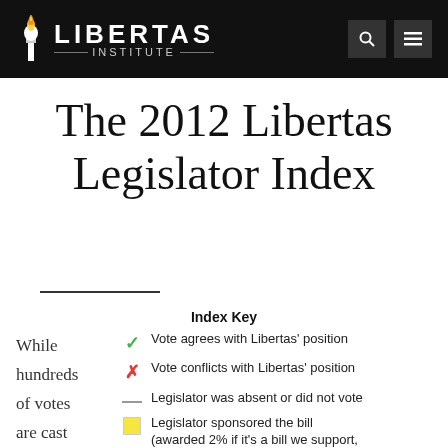Libertas Institute
The 2012 Libertas Legislator Index
Index Key
While hundreds of votes are cast
✓ Vote agrees with Libertas' position
✗ Vote conflicts with Libertas' position
— Legislator was absent or did not vote
■ Legislator sponsored the bill (awarded 2% if it's a bill we support, docked 2% if we opposed)